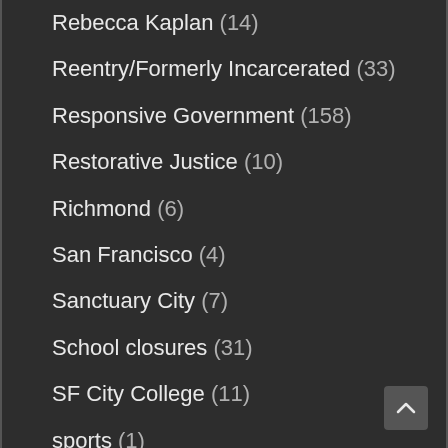Rebecca Kaplan (14)
Reentry/Formerly Incarcerated (33)
Responsive Government (158)
Restorative Justice (10)
Richmond (6)
San Francisco (4)
Sanctuary City (7)
School closures (31)
SF City College (11)
sports (1)
Transportation (22)
Uncategorized (38)